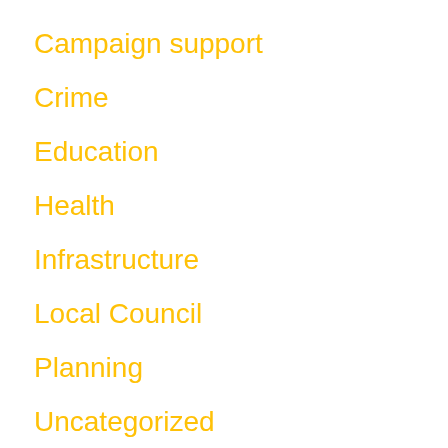Campaign support
Crime
Education
Health
Infrastructure
Local Council
Planning
Uncategorized